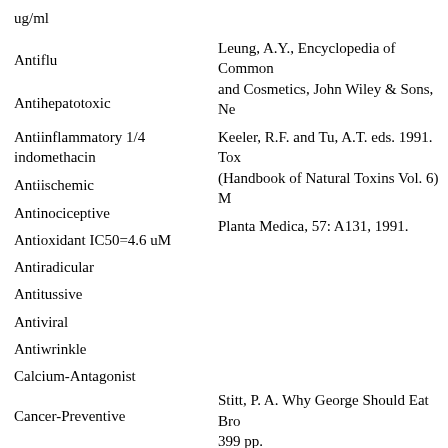ug/ml
Antiflu
Antihepatotoxic
Antiinflammatory 1/4 indomethacin
Antiischemic
Antinociceptive
Antioxidant IC50=4.6 uM
Antiradicular
Antitussive
Antiviral
Antiwrinkle
Calcium-Antagonist
Cancer-Preventive
Capillarifortificant
Capillarigenic
Leung, A.Y., Encyclopedia of Common and Cosmetics, John Wiley & Sons, Ne
Keeler, R.F. and Tu, A.T. eds. 1991. Tox (Handbook of Natural Toxins Vol. 6) M
Planta Medica, 57: A131, 1991.
Stitt, P. A. Why George Should Eat Bro 399 pp.
Jeffery B. Harborne and H. Baxter, eds. Handbook of Bioactive Compounds fro
Jeffery B. Harborne and H. Baxter, eds. Handbook of Bioactive Compounds fro
Hansel, R., Keller, K., Rimpler, H. and